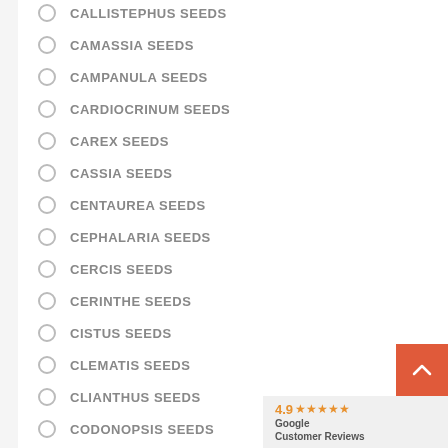CALLISTEPHUS SEEDS
CAMASSIA SEEDS
CAMPANULA SEEDS
CARDIOCRINUM SEEDS
CAREX SEEDS
CASSIA SEEDS
CENTAUREA SEEDS
CEPHALARIA SEEDS
CERCIS SEEDS
CERINTHE SEEDS
CISTUS SEEDS
CLEMATIS SEEDS
CLIANTHUS SEEDS
CODONOPSIS SEEDS
COLCHICUM SEEDS
COMMELINA SEEDS
CONVOLVULUS SEEDS